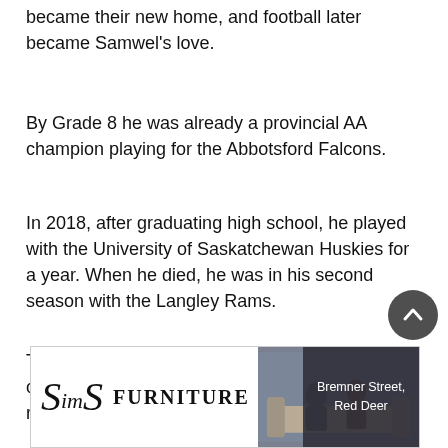became their new home, and football later became Samwel's love.
By Grade 8 he was already a provincial AA champion playing for the Abbotsford Falcons.
In 2018, after graduating high school, he played with the University of Saskatchewan Huskies for a year. When he died, he was in his second season with the Langley Rams.
Trophies and memorabilia kept by his family celebrate his life and his achievements as a running back.
A graduation cap is displayed to remember his smarts. Most valuable player rings are to remember his work ethic.
[Figure (other): Sims Furniture advertisement banner showing logo, photo of people on a couch, and address: Bremner Street, Red Deer]